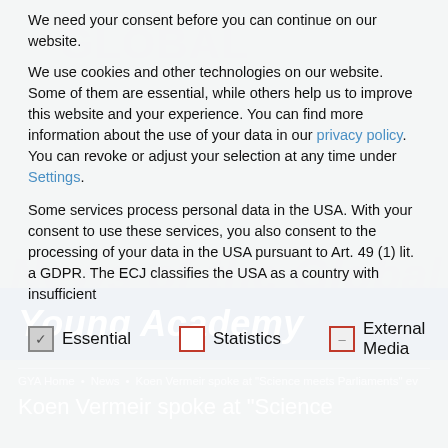We need your consent before you can continue on our website.
We use cookies and other technologies on our website. Some of them are essential, while others help us to improve this website and your experience. You can find more information about the use of your data in our privacy policy. You can revoke or adjust your selection at any time under Settings.
Some services process personal data in the USA. With your consent to use these services, you also consent to the processing of your data in the USA pursuant to Art. 49 (1) lit. a GDPR. The ECJ classifies the USA as a country with insufficient
Essential
Statistics
External Media
Young Academy
GYA Home • News • Koen Vermeir spoke at "Science meets Parliaments" ev
Koen Vermeir spoke at "Science